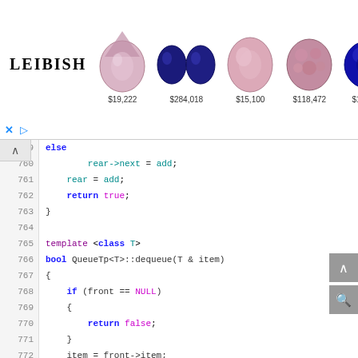[Figure (screenshot): Leibish gemstone advertisement banner showing 5 gems with prices: pear-cut pink $19,222, oval sapphires $284,018, oval pink $15,100, cluster pink $118,472, round blue $162,408]
[Figure (screenshot): C++ source code showing lines 759-780 with syntax highlighting. Code includes else/return true block, then template class T definition for QueueTp<T>::dequeue(T & item) function with if/NULL checks, item assignment, Node pointer operations, front reassignment, delete temp, and rear=NULL assignment.]